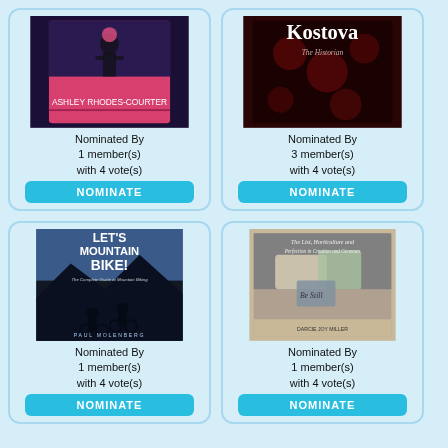[Figure (photo): Book cover: Ashley Rhodes-Courter, partially visible, pink/dark background]
Nominated By
1 member(s)
with 4 vote(s)
NOMINATE
[Figure (photo): Book cover: Kostova, dark red floral background]
Nominated By
3 member(s)
with 4 vote(s)
NOMINATE
[Figure (photo): Book cover: Let's Mountain Bike! The Complete Guide to Mountain Biking by Paul Molenberg, silhouette of two mountain bikers]
Nominated By
1 member(s)
with 4 vote(s)
NOMINATE
[Figure (photo): Book cover: The List, Horticulture themed, with pillows and objects, by Darcie Joy Miller]
Nominated By
1 member(s)
with 4 vote(s)
NOMINATE